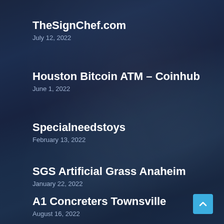TheSignChef.com
July 12, 2022
Houston Bitcoin ATM – Coinhub
June 1, 2022
Specialneedstoys
February 13, 2022
SGS Artificial Grass Anaheim
January 22, 2022
A1 Concreters Townsville
August 16, 2022